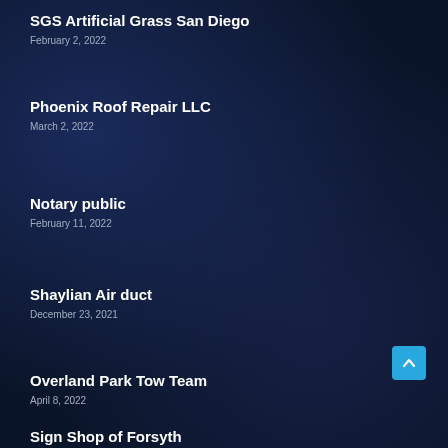SGS Artificial Grass San Diego
February 2, 2022
Phoenix Roof Repair LLC
March 2, 2022
Notary public
February 11, 2022
Shaylian Air duct
December 23, 2021
Overland Park Tow Team
April 8, 2022
Sign Shop of Forsyth